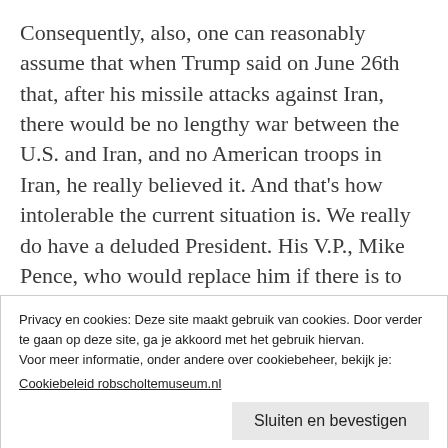Consequently, also, one can reasonably assume that when Trump said on June 26th that, after his missile attacks against Iran, there would be no lengthy war between the U.S. and Iran, and no American troops in Iran, he really believed it. And that's how intolerable the current situation is. We really do have a deluded President. His V.P., Mike Pence, who would replace him if there is to be a forced removal of Trump from office, would be no better.
Privacy en cookies: Deze site maakt gebruik van cookies. Door verder te gaan op deze site, ga je akkoord met het gebruik hiervan.
Voor meer informatie, onder andere over cookiebeheer, bekijk je:
Cookiebeleid robscholtemuseum.nl
Sluiten en bevestigen
Investigative historian Eric Zuesse is the